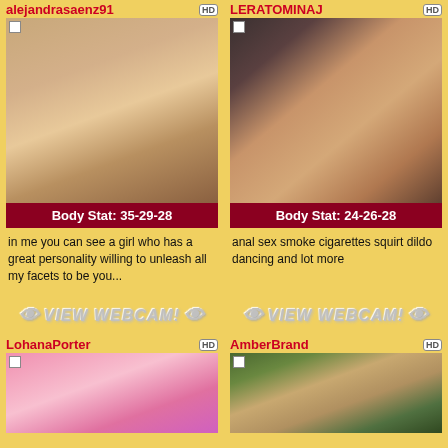alejandrasaenz91
[Figure (photo): Webcam profile photo of alejandrasaenz91 - woman in black outfit]
Body Stat: 35-29-28
in me you can see a girl who has a great personality willing to unleash all my facets to be you...
VIEW WEBCAM!
LERATOMINAJ
[Figure (photo): Webcam profile photo of LERATOMINAJ]
Body Stat: 24-26-28
anal sex smoke cigarettes squirt dildo dancing and lot more
VIEW WEBCAM!
LohanaPorter
[Figure (photo): Webcam profile photo of LohanaPorter - woman with pink hat]
AmberBrand
[Figure (photo): Webcam profile photo of AmberBrand - woman outdoors]